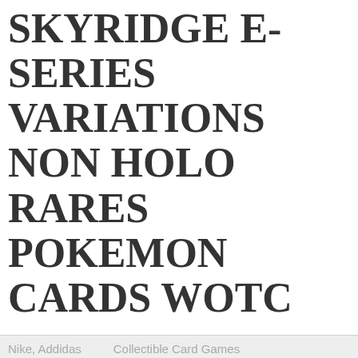SKYRIDGE E-SERIES VARIATIONS NON HOLO RARES POKEMON CARDS WOTC
Collectible Card Games
Price: Unknown
Skyridge E-Series Variations Non Holo Rares Pokemon Cards
WOTC